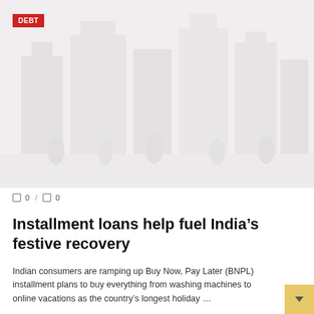[Figure (photo): Faded/washed-out photo of a city street scene with buildings and people, used as hero image for article about installment loans in India]
DEBT
0 / 0
Installment loans help fuel India's festive recovery
Indian consumers are ramping up Buy Now, Pay Later (BNPL) installment plans to buy everything from washing machines to online vacations as the country's longest holiday ...